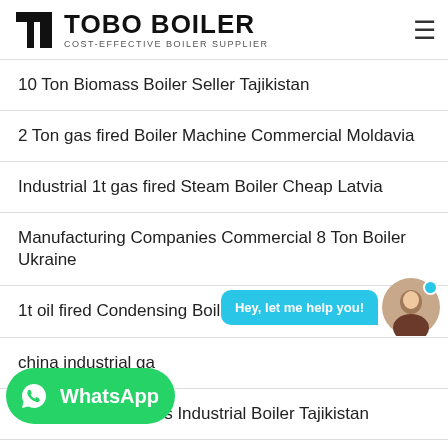TOBO BOILER - COST-EFFECTIVE BOILER SUPPLIER
10 Ton Biomass Boiler Seller Tajikistan
2 Ton gas fired Boiler Machine Commercial Moldavia
Industrial 1t gas fired Steam Boiler Cheap Latvia
Manufacturing Companies Commercial 8 Ton Boiler Ukraine
1t oil fired Condensing Boiler Seller Latvia
china industrial ga...
6 Ton Manufacturers Industrial Boiler Tajikistan
...Steam Boiler Uzbekistan
Distributor 20 Ton Gas Condensing Boiler Azerbaijan